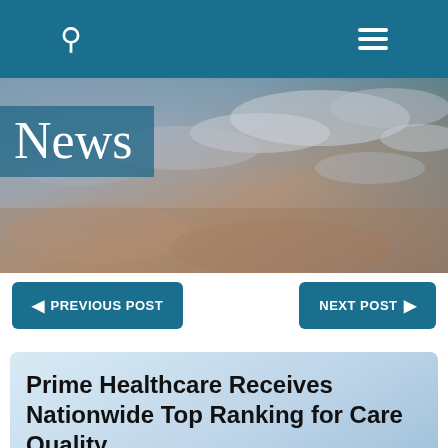[Figure (photo): Sky with clouds in warm and cool tones, used as hero banner background image]
News
◄ PREVIOUS POST
NEXT POST ►
Prime Healthcare Receives Nationwide Top Ranking for Care Quality
12-13-2021